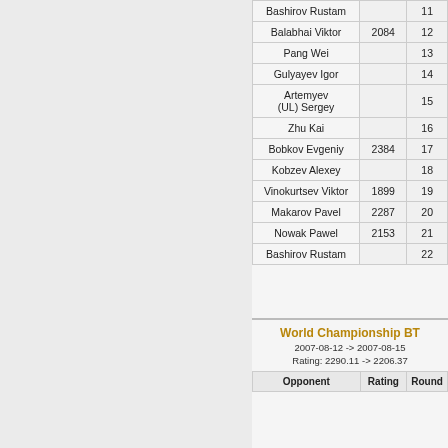| Opponent | Rating | Round |
| --- | --- | --- |
| Bashirov Rustam |  | 11 |
| Balabhai Viktor | 2084 | 12 |
| Pang Wei |  | 13 |
| Gulyayev Igor |  | 14 |
| Artemyev (UL) Sergey |  | 15 |
| Zhu Kai |  | 16 |
| Bobkov Evgeniy | 2384 | 17 |
| Kobzev Alexey |  | 18 |
| Vinokurtsev Viktor | 1899 | 19 |
| Makarov Pavel | 2287 | 20 |
| Nowak Pawel | 2153 | 21 |
| Bashirov Rustam |  | 22 |
World Championship BT
2007-08-12 -> 2007-08-15
Rating: 2290.11 -> 2206.37
| Opponent | Rating | Round |
| --- | --- | --- |